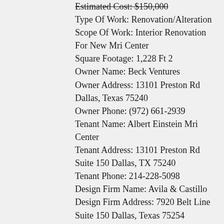Estimated Cost: $150,000
Type Of Work: Renovation/Alteration
Scope Of Work: Interior Renovation For New Mri Center
Square Footage: 1,228 Ft 2
Owner Name: Beck Ventures
Owner Address: 13101 Preston Rd Dallas, Texas 75240
Owner Phone: (972) 661-2939
Tenant Name: Albert Einstein Mri Center
Tenant Address: 13101 Preston Rd Suite 150 Dallas, TX 75240
Tenant Phone: 214-228-5098
Design Firm Name: Avila & Castillo
Design Firm Address: 7920 Belt Line Suite 150 Dallas, Texas 75254
Design Firm Phone: 469-274-3438